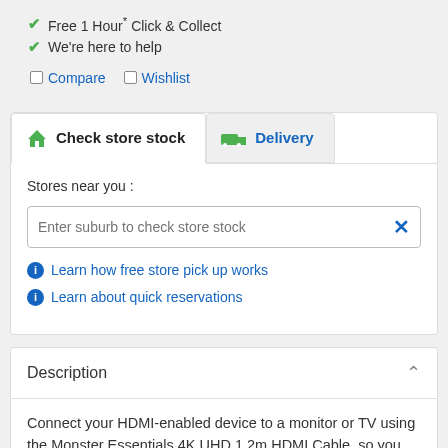Free 1 Hour* Click & Collect
We're here to help
Compare  Wishlist
Check store stock  Delivery
Stores near you :
Enter suburb to check store stock
Learn how free store pick up works
Learn about quick reservations
Description
Connect your HDMI-enabled device to a monitor or TV using the Monster Essentials 4K UHD 1.2m HDMI Cable, so you can